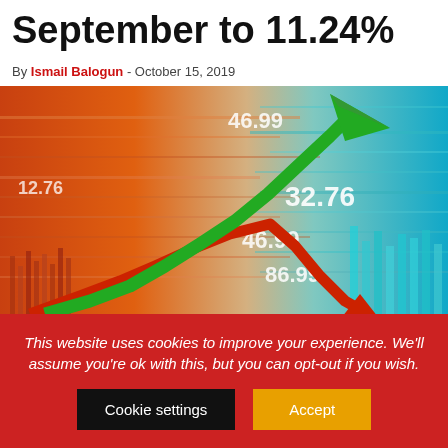September to 11.24%
By Ismail Balogun - October 15, 2019
[Figure (photo): Stock market graphic showing green upward arrow and red downward arrow with financial ticker numbers (46.99, 32.76, 86.99) on a colorful background transitioning from orange/red on the left to teal/blue on the right, with bar charts visible.]
This website uses cookies to improve your experience. We'll assume you're ok with this, but you can opt-out if you wish. Cookie settings Accept